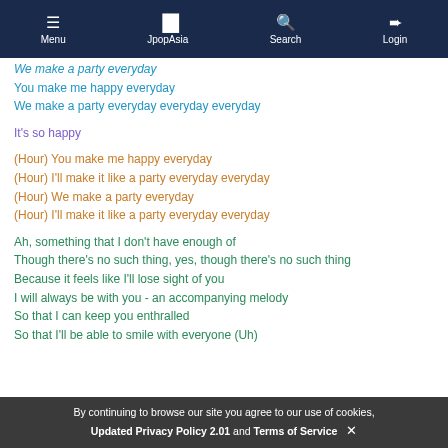Menu | JpopAsia | Search | Login
We make a party everyday
You make me happy everyday
We make a party everyday everyday everyday
It's so happy
(Hour) You make me happy everyday
(Hour) I'll make it like a party everyday everyday
(Hour) We make a party everyday
(Hour) I'll make it like a party everyday everyday
Ah, something that I don't have enough of
Though there's no such thing, yes, though there's no such thing
Because it feels like I'll lose sight of you
I will always be with you - an accompanying melody
So that I can keep you enthralled
So that I'll be able to smile with everyone (Uh)
By continuing to browse our site you agree to our use of cookies, Updated Privacy Policy 2.01 and Terms of Service ×